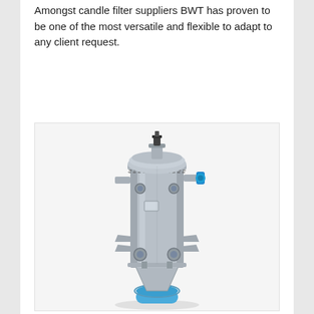Amongst candle filter suppliers BWT has proven to be one of the most versatile and flexible to adapt to any client request.
more info
[Figure (photo): Industrial vertical candle filter unit — a tall cylindrical stainless-steel pressure vessel with a domed top, bolted flanges, inlet/outlet nozzles with blue valve actuators, support legs with wing brackets, and a conical bottom with blue discharge valve, mounted on a base.]